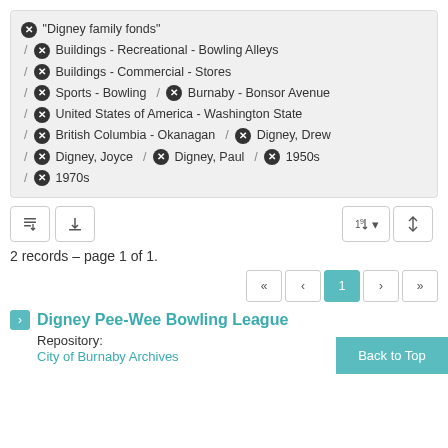"Digney family fonds" / Buildings - Recreational - Bowling Alleys / Buildings - Commercial - Stores / Sports - Bowling / Burnaby - Bonsor Avenue / United States of America - Washington State / British Columbia - Okanagan / Digney, Drew / Digney, Joyce / Digney, Paul / 1950s / 1970s
2 records – page 1 of 1.
Digney Pee-Wee Bowling League
Repository:
City of Burnaby Archives